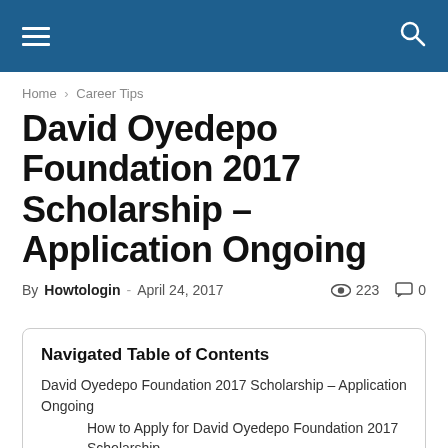≡  🔍
Home › Career Tips
David Oyedepo Foundation 2017 Scholarship – Application Ongoing
By Howtologin - April 24, 2017  👁 223  💬 0
Navigated Table of Contents
David Oyedepo Foundation 2017 Scholarship – Application Ongoing
How to Apply for David Oyedepo Foundation 2017 Scholarship